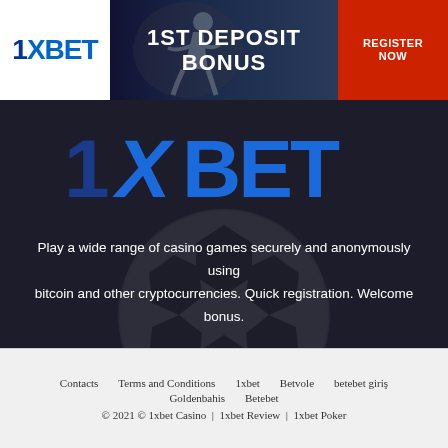[Figure (illustration): 1xBet banner advertisement showing logo on white background on left, '1ST DEPOSIT BONUS' text in center with a soccer player image, and red 'REGISTER NOW' button on right]
[Figure (logo): Large 1XBET logo in blue and dark blue on dark background]
Play a wide range of casino games securely and anonymously using bitcoin and other cryptocurrencies. Quick registration. Welcome bonus.
Contacts   Terms and Conditions   1xbet   Betvole   betebet giriş   Goldenbahis   Betebet   © 2021 © 1xbet Casino | 1xbet Review | 1xbet Poker